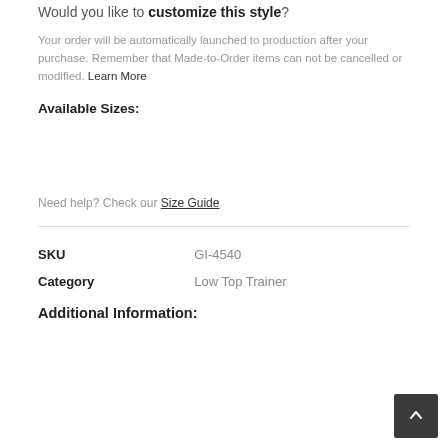Would you like to customize this style?
Your order will be automatically launched to production after your purchase. Remember that Made-to-Order items can not be cancelled or modified. Learn More
Available Sizes:
Need help? Check our Size Guide
|  |  |
| --- | --- |
| SKU | GI-4540 |
| Category | Low Top Trainer |
Additional Information: